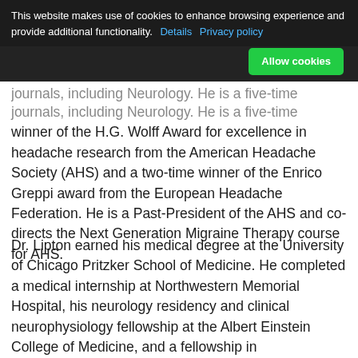This website makes use of cookies to enhance browsing experience and provide additional functionality. Details Privacy policy Allow cookies
journals, including Neurology. He is a five-time winner of the H.G. Wolff Award for excellence in headache research from the American Headache Society (AHS) and a two-time winner of the Enrico Greppi award from the European Headache Federation. He is a Past-President of the AHS and co-directs the Next Generation Migraine Therapy course for AHS.
Dr. Lipton earned his medical degree at the University of Chicago Pritzker School of Medicine. He completed a medical internship at Northwestern Memorial Hospital, his neurology residency and clinical neurophysiology fellowship at the Albert Einstein College of Medicine, and a fellowship in neuroepidemiology at Columbia University.